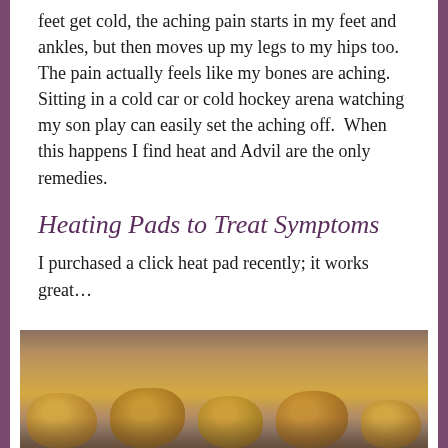feet get cold, the aching pain starts in my feet and ankles, but then moves up my legs to my hips too.  The pain actually feels like my bones are aching.  Sitting in a cold car or cold hockey arena watching my son play can easily set the aching off.  When this happens I find heat and Advil are the only remedies.
Heating Pads to Treat Symptoms
I purchased a click heat pad recently; it works great...
[Figure (photo): Photo of several amber/golden colored click heat pads lying on a surface]